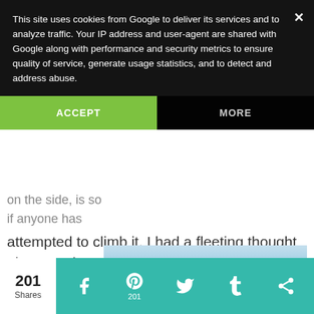This site uses cookies from Google to deliver its services and to analyze traffic. Your IP address and user-agent are shared with Google along with performance and security metrics to ensure quality of service, generate usage statistics, and to detect and address abuse.
ACCEPT
MORE
on the side, is so if anyone has attempted to climb it, I had a fleeting thought about getting a boat and riding out to it...ha! Oh wow, the photo shoot you could get standing on top there!
[Figure (photo): Blue sky photo partially visible at bottom of page]
201
Shares
201